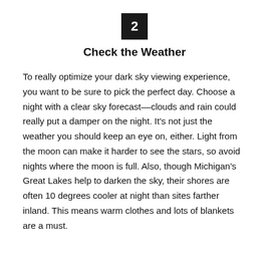2
Check the Weather
To really optimize your dark sky viewing experience, you want to be sure to pick the perfect day. Choose a night with a clear sky forecast––clouds and rain could really put a damper on the night. It's not just the weather you should keep an eye on, either. Light from the moon can make it harder to see the stars, so avoid nights where the moon is full. Also, though Michigan's Great Lakes help to darken the sky, their shores are often 10 degrees cooler at night than sites farther inland. This means warm clothes and lots of blankets are a must.